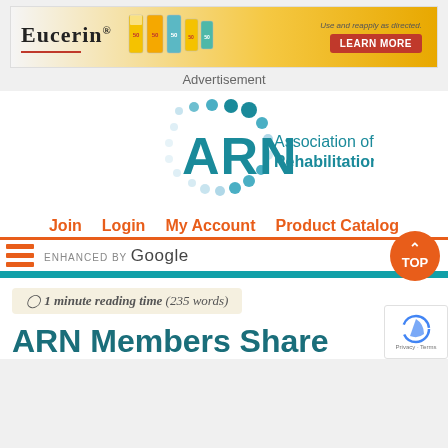[Figure (other): Eucerin sunscreen advertisement banner with product bottles and Learn More button]
Advertisement
[Figure (logo): ARN Association of Rehabilitation Nurses logo with teal circular dot pattern]
Join   Login   My Account   Product Catalog
[Figure (screenshot): Search bar with hamburger menu, Enhanced by Google search, and orange TOP button]
1 minute reading time (235 words)
ARN Members Share